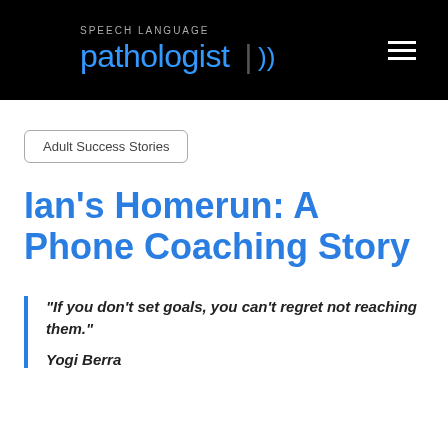SPEECH LANGUAGE pathologist
Adult Success Stories
Ian's Homerun: A Phone Coaching Story
“If you don’t set goals, you can’t regret not reaching them.” Yogi Berra